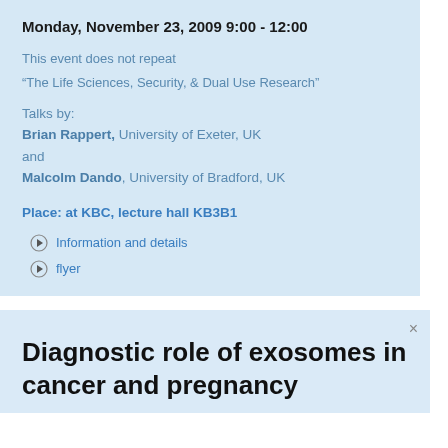Monday, November 23, 2009 9:00 - 12:00
This event does not repeat
“The Life Sciences, Security, & Dual Use Research”
Talks by:
Brian Rappert, University of Exeter, UK
and
Malcolm Dando, University of Bradford, UK
Place: at KBC, lecture hall KB3B1
Information and details
flyer
Diagnostic role of exosomes in cancer and pregnancy